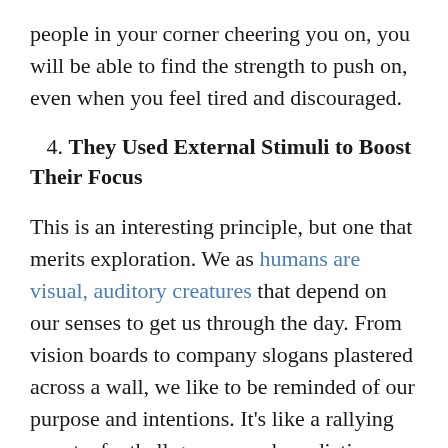people in your corner cheering you on, you will be able to find the strength to push on, even when you feel tired and discouraged.
4. They Used External Stimuli to Boost Their Focus
This is an interesting principle, but one that merits exploration. We as humans are visual, auditory creatures that depend on our senses to get us through the day. From vision boards to company slogans plastered across a wall, we like to be reminded of our purpose and intentions. It's like a rallying cry at a football game, or a benediction offered up before a trying task. We are what we repeatedly remind ourselves of and surround ourselves with. There is a reason top athletes are taught to visualize success as part of mental toughness programs. Doing so has